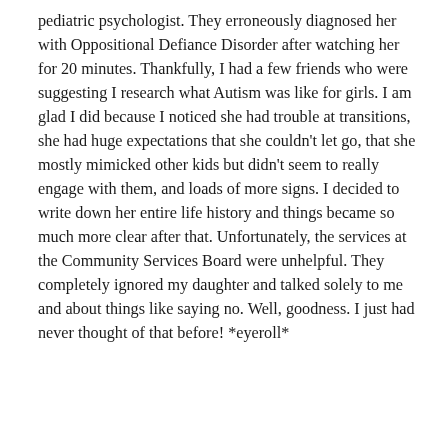pediatric psychologist. They erroneously diagnosed her with Oppositional Defiance Disorder after watching her for 20 minutes. Thankfully, I had a few friends who were suggesting I research what Autism was like for girls. I am glad I did because I noticed she had trouble at transitions, she had huge expectations that she couldn't let go, that she mostly mimicked other kids but didn't seem to really engage with them, and loads of more signs. I decided to write down her entire life history and things became so much more clear after that. Unfortunately, the services at the Community Services Board were unhelpful. They completely ignored my daughter and talked solely to me and about things like saying no. Well, goodness. I just had never thought of that before! *eyeroll*